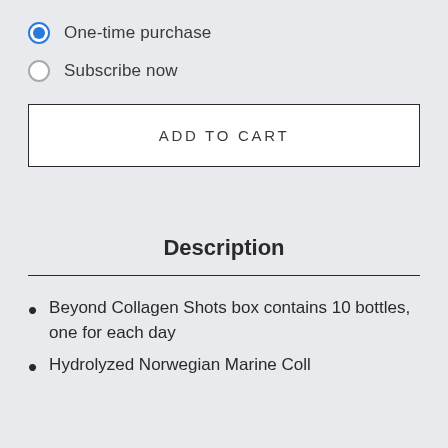One-time purchase
Subscribe now
ADD TO CART
Description
Beyond Collagen Shots box contains 10 bottles, one for each day
Hydrolyzed Norwegian Marine Coll...